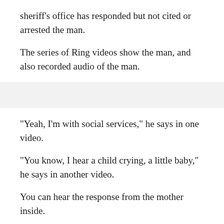sheriff's office has responded but not cited or arrested the man.
The series of Ring videos show the man, and also recorded audio of the man.
"Yeah, I'm with social services," he says in one video.
"You know, I hear a child crying, a little baby," he says in another video.
You can hear the response from the mother inside.
"You need to leave," the mother said. "I'm calling the cops."